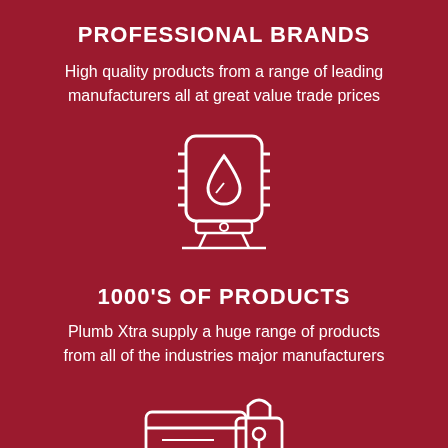PROFESSIONAL BRANDS
High quality products from a range of leading manufacturers all at great value trade prices
[Figure (illustration): Icon of a hot water boiler/cylinder unit with a water drop symbol on the front, pipes at the bottom, rendered as white line art on dark red background]
1000'S OF PRODUCTS
Plumb Xtra supply a huge range of products from all of the industries major manufacturers
[Figure (illustration): Icon of a credit card with a padlock symbol, rendered as white line art on dark red background, partially cropped at bottom]